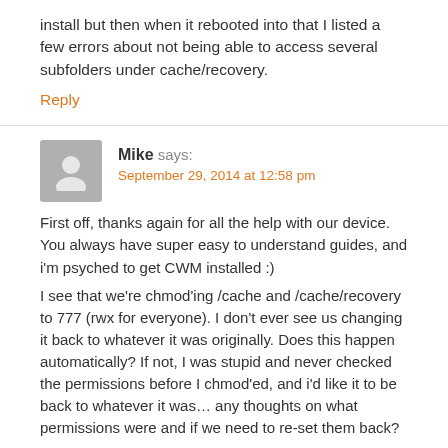install but then when it rebooted into that I listed a few errors about not being able to access several subfolders under cache/recovery.
Reply
Mike says:
September 29, 2014 at 12:58 pm
First off, thanks again for all the help with our device. You always have super easy to understand guides, and i'm psyched to get CWM installed :)
I see that we're chmod'ing /cache and /cache/recovery to 777 (rwx for everyone). I don't ever see us changing it back to whatever it was originally. Does this happen automatically? If not, I was stupid and never checked the permissions before I chmod'ed, and i'd like it to be back to whatever it was… any thoughts on what permissions were and if we need to re-set them back?
Reply